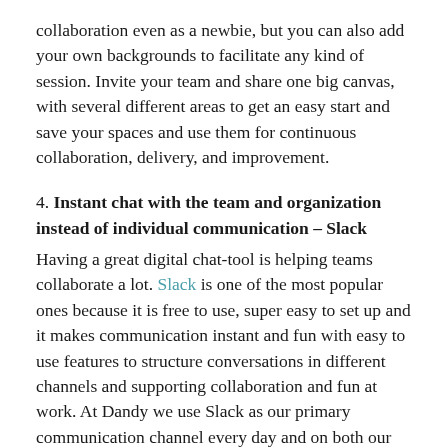collaboration even as a newbie, but you can also add your own backgrounds to facilitate any kind of session. Invite your team and share one big canvas, with several different areas to get an easy start and save your spaces and use them for continuous collaboration, delivery, and improvement.
4. Instant chat with the team and organization instead of individual communication – Slack
Having a great digital chat-tool is helping teams collaborate a lot. Slack is one of the most popular ones because it is free to use, super easy to set up and it makes communication instant and fun with easy to use features to structure conversations in different channels and supporting collaboration and fun at work. At Dandy we use Slack as our primary communication channel every day and on both our phones and on desktop. This is where everyone check-in every morning in our #checkin-channel letting everyone know how we are feeling and what we